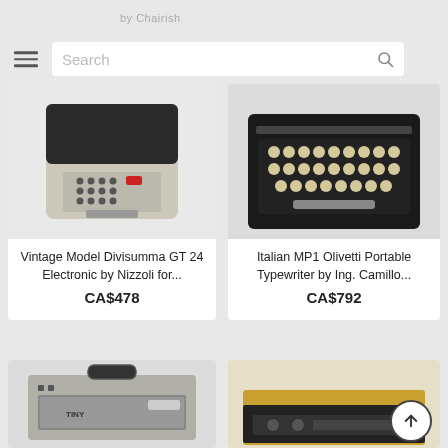by Chairish
Search
[Figure (photo): Vintage Model Divisumma GT 24 Electronic calculator by Nizzoli, beige with black top and red button]
Vintage Model Divisumma GT 24 Electronic by Nizzoli for...
CA$478
[Figure (photo): Italian MP1 Olivetti Portable Typewriter, black, viewed from above showing keyboard]
Italian MP1 Olivetti Portable Typewriter by Ing. Camillo...
CA$792
[Figure (photo): Vintage portable radio, silver/grey, labeled TINY]
[Figure (photo): Vintage yellow/orange device, possibly a radio or tape player, partially visible with scroll-up button overlay]